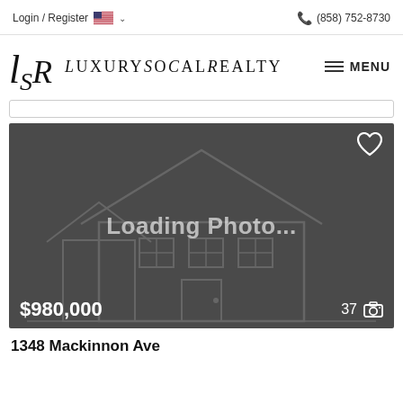Login / Register  (858) 752-8730
[Figure (logo): LuxurySoCalRealty logo with stylized LSR monogram and serif text]
[Figure (photo): Property listing image placeholder showing a house outline with 'Loading Photo...' text, price $980,000 and 37 photos indicator]
1348 Mackinnon Ave